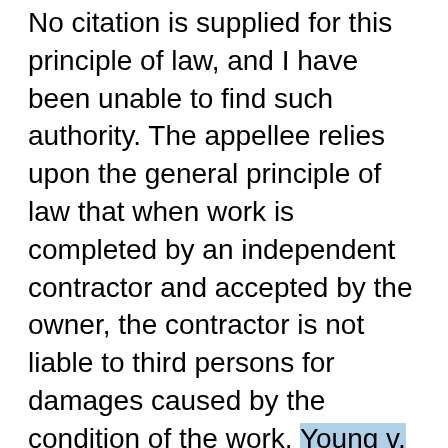No citation is supplied for this principle of law, and I have been unable to find such authority. The appellee relies upon the general principle of law that when work is completed by an independent contractor and accepted by the owner, the contractor is not liable to third persons for damages caused by the condition of the work. Young v. Smith & Kelly Co., 124 Ga. 475 (52 SE 765) (1905); Cox v. Ray M. Lee Co., 100 Ga. App. 333 (111 SE2d 246) (1959); Welding Products of Ga. v. S. D. Mullins Co., 127 Ga. App. 474 (193 SE2d 881) (1972). However, there exists an exception to this general rule where an inherently dangerous condition is left behind. See